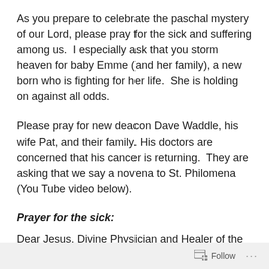As you prepare to celebrate the paschal mystery of our Lord, please pray for the sick and suffering among us.  I especially ask that you storm heaven for baby Emme (and her family), a new born who is fighting for her life.  She is holding on against all odds.
Please pray for new deacon Dave Waddle, his wife Pat, and their family. His doctors are concerned that his cancer is returning.  They are asking that we say a novena to St. Philomena (You Tube video below).
Prayer for the sick:
Dear Jesus, Divine Physician and Healer of the sick, we turn to you in this time of illness. O dearest comforter of the troubled alleviate our worry and sorrow with your
Follow ···